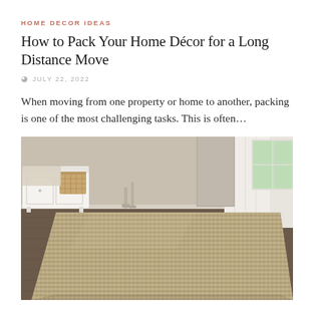HOME DECOR IDEAS
How to Pack Your Home Décor for a Long Distance Move
JULY 22, 2022
When moving from one property or home to another, packing is one of the most challenging tasks. This is often...
[Figure (photo): A woven natural fiber rug (jute/sisal) spread across a dark hardwood floor in a bright room with white curtains, a white bench, and a wicker storage basket.]